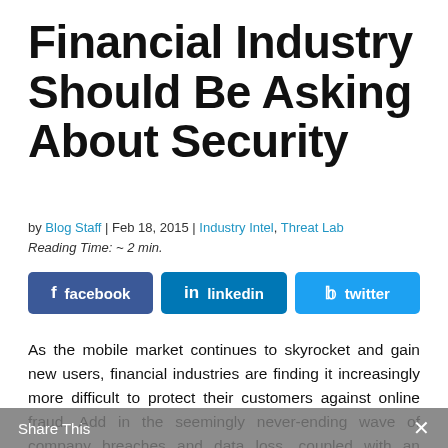Financial Industry Should Be Asking About Security
by Blog Staff | Feb 18, 2015 | Industry Intel, Threat Lab
Reading Time: ~ 2 min.
[Figure (infographic): Social share buttons for Facebook, LinkedIn, and Twitter]
As the mobile market continues to skyrocket and gain new users, financial industries are finding it increasingly more difficult to protect their customers against online fraud. Add in the seemingly never-ending wave of company breaches and data loss, coupled with an increasing number of users relying on mobile for their banking needs, and you have a recipe for potential disaster. As a result, ...
Share This ×